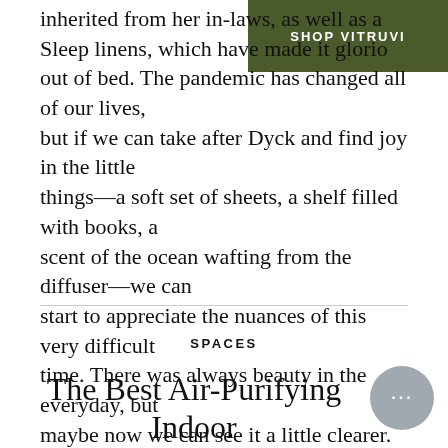[Figure (other): Dark olive green rectangular banner in top-right corner with white uppercase text reading SHOP VITRUVI]
inherited from her in-laws, as well as a Sleep linens, which have made it glorio out of bed. The pandemic has changed all of our lives, but if we can take after Dyck and find joy in the little things—a soft set of sheets, a shelf filled with books, a scent of the ocean wafting from the diffuser—we can start to appreciate the nuances of this very difficult time. There was always beauty in the everyday, but maybe now we can see it a little clearer.
SPACES
The Best Air-Purifying Indoor Plants